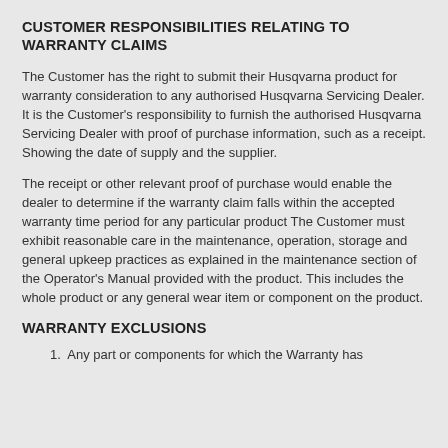CUSTOMER RESPONSIBILITIES RELATING TO WARRANTY CLAIMS
The Customer has the right to submit their Husqvarna product for warranty consideration to any authorised Husqvarna Servicing Dealer. It is the Customer's responsibility to furnish the authorised Husqvarna Servicing Dealer with proof of purchase information, such as a receipt. Showing the date of supply and the supplier.
The receipt or other relevant proof of purchase would enable the dealer to determine if the warranty claim falls within the accepted warranty time period for any particular product The Customer must exhibit reasonable care in the maintenance, operation, storage and general upkeep practices as explained in the maintenance section of the Operator's Manual provided with the product. This includes the whole product or any general wear item or component on the product.
WARRANTY EXCLUSIONS
1.  Any part or components for which the Warranty has